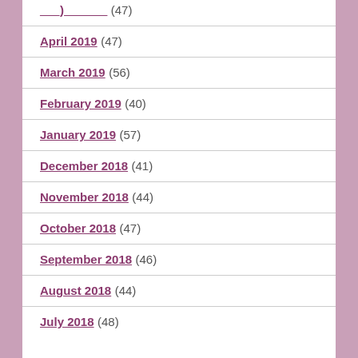(47) [partial top entry]
April 2019 (47)
March 2019 (56)
February 2019 (40)
January 2019 (57)
December 2018 (41)
November 2018 (44)
October 2018 (47)
September 2018 (46)
August 2018 (44)
July 2018 (48)